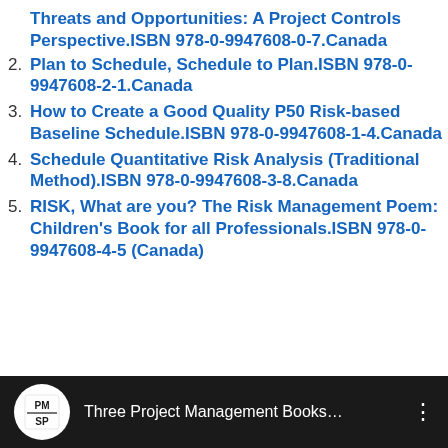Threats and Opportunities: A Project Controls Perspective.ISBN 978-0-9947608-0-7.Canada
Plan to Schedule, Schedule to Plan.ISBN 978-0-9947608-2-1.Canada
How to Create a Good Quality P50 Risk-based Baseline Schedule.ISBN 978-0-9947608-1-4.Canada
Schedule Quantitative Risk Analysis (Traditional Method).ISBN 978-0-9947608-3-8.Canada
RISK, What are you? The Risk Management Poem: Children's Book for all Professionals.ISBN 978-0-9947608-4-5 (Canada)
[Figure (screenshot): YouTube-style video bar with PMSP channel icon and title 'Three Project Management Books...' with vertical dots menu icon on dark background]